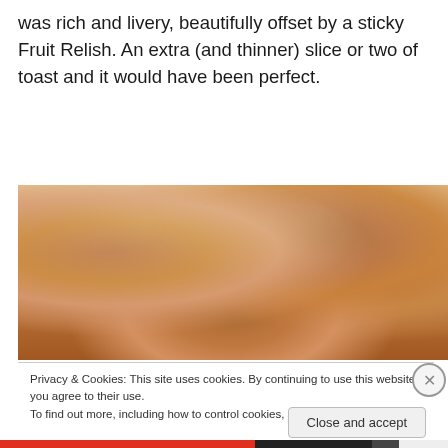was rich and livery, beautifully offset by a sticky Fruit Relish. An extra (and thinner) slice or two of toast and it would have been perfect.
[Figure (photo): Close-up photograph of cooked liver or meat pieces with glossy sauce on a light background]
Privacy & Cookies: This site uses cookies. By continuing to use this website, you agree to their use.
To find out more, including how to control cookies, see here: Cookie Policy